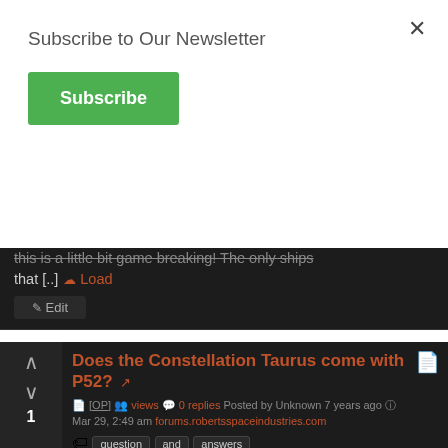Subscribe to Our Newsletter
Subscribe
this is a little bit game breaking! The only ships that [..] Load
Edit
Does the Constellation Taurus come with P52?
[OP] views 0 replies Posted by Unknown 7 years ago Mar 29, 2:49 am forums.robertsspaceindustries.com
question and answers
I've been looking for an answer but all I've found is speculation on whether or not the Aquila will have one. So, will the Taurus have a P52? And is there any ballpark on when the Phoenix will be avail[..] Load